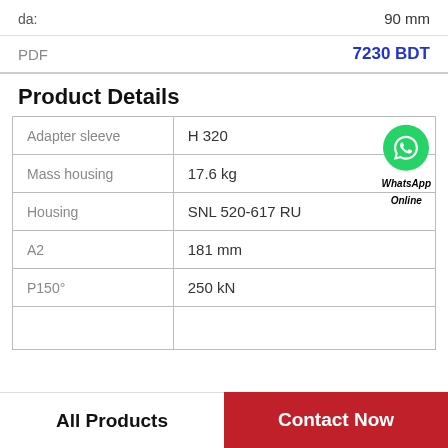da:    90 mm
PDF    7230 BDT
Product Details
| Property | Value |
| --- | --- |
| Adapter sleeve | H 320 |
| Mass housing | 17.6 kg |
| Housing | SNL 520-617 RU |
| A2 | 181 mm |
| P150° | 250 kN |
|  |  |
All Products
Contact Now